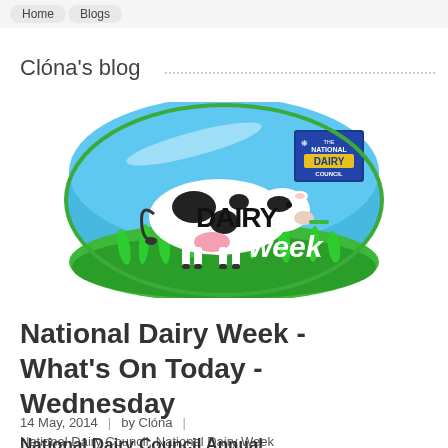Home / Blogs
Clóna's blog
[Figure (logo): National Dairy Council - Dairy Week logo. An oval shaped logo with a blue sky background, green grass at the bottom, a black and white cow standing in the grass with 'DAIRY' written in large black letters on its body, 'week' written in white italic text on the right side, and the National Dairy Council logo in the top right corner.]
National Dairy Week - What's On Today - Wednesday
14 May, 2014 | by Clóna | National Dairy Council, National Dairy Week
National Dairy Council Annual